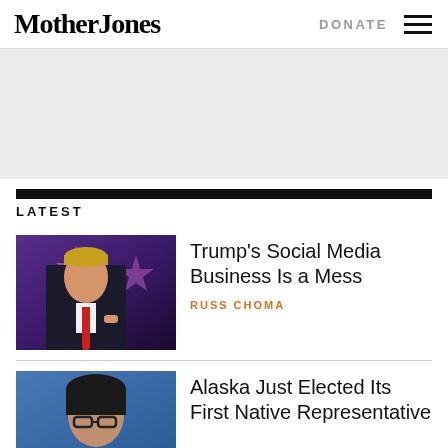Mother Jones
DONATE
[Figure (other): Advertisement banner placeholder, light gray background]
LATEST
[Figure (photo): Donald Trump speaking at CPAC-style event with purple star backdrop, wearing dark suit and red tie]
Trump’s Social Media Business Is a Mess
RUSS CHOMA
[Figure (photo): Woman with dark hair and glasses against blue background]
Alaska Just Elected Its First Native Representative